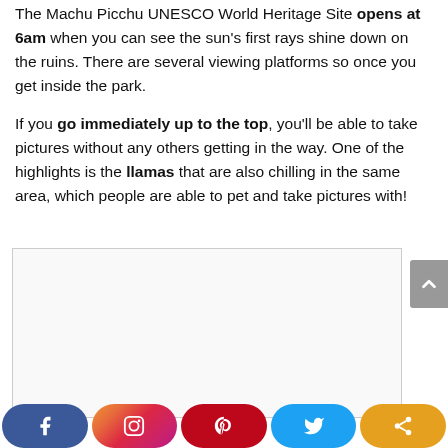The Machu Picchu UNESCO World Heritage Site opens at 6am when you can see the sun's first rays shine down on the ruins. There are several viewing platforms so once you get inside the park.
If you go immediately up to the top, you'll be able to take pictures without any others getting in the way. One of the highlights is the llamas that are also chilling in the same area, which people are able to pet and take pictures with!
[Figure (photo): Empty image placeholder box with light border]